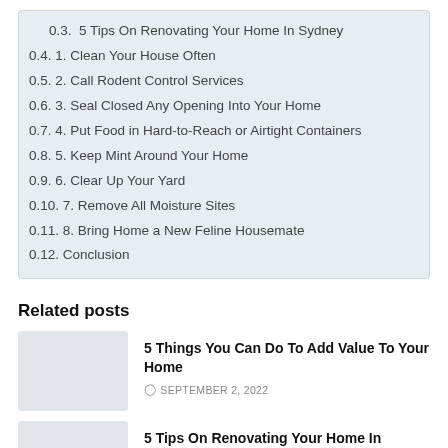0.3.  5 Tips On Renovating Your Home In Sydney
0.4. 1. Clean Your House Often
0.5. 2. Call Rodent Control Services
0.6. 3. Seal Closed Any Opening Into Your Home
0.7. 4. Put Food in Hard-to-Reach or Airtight Containers
0.8. 5. Keep Mint Around Your Home
0.9. 6. Clear Up Your Yard
0.10. 7. Remove All Moisture Sites
0.11. 8. Bring Home a New Feline Housemate
0.12. Conclusion
Related posts
5 Things You Can Do To Add Value To Your Home
SEPTEMBER 2, 2022
5 Tips On Renovating Your Home In Sydney